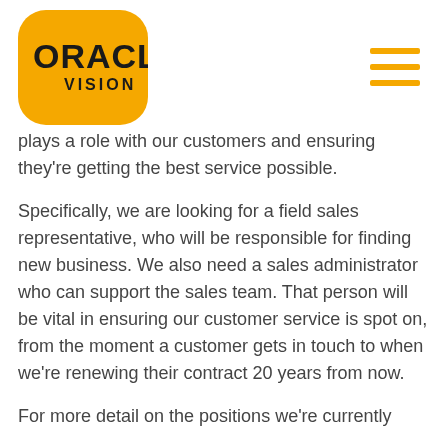[Figure (logo): Oracle Vision logo — yellow rounded square background with bold black text ORACLE and smaller text VISION below]
[Figure (other): Hamburger menu icon — three horizontal yellow bars stacked]
plays a role with our customers and ensuring they're getting the best service possible.
Specifically, we are looking for a field sales representative, who will be responsible for finding new business. We also need a sales administrator who can support the sales team. That person will be vital in ensuring our customer service is spot on, from the moment a customer gets in touch to when we're renewing their contract 20 years from now.
For more detail on the positions we're currently